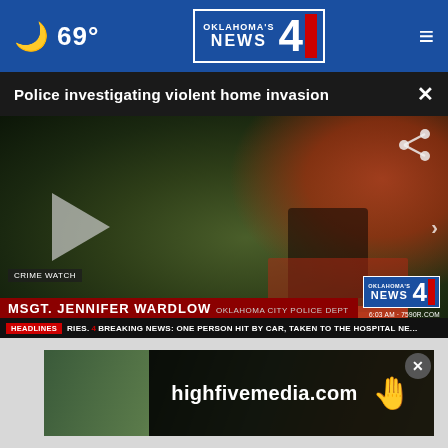69° | Oklahoma's News 4
Police investigating violent home invasion
[Figure (screenshot): Security camera footage showing a night-vision view of a home exterior with a person visible, play button overlay, lower third with 'MSGT. JENNIFER WARDLOW OKLAHOMA CITY POLICE DEPT', News 4 logo, and breaking news ticker reading 'HEADLINES RIES. 4 BREAKING NEWS: ONE PERSON HIT BY CAR, TAKEN TO THE HOSPITAL NE...']
[Figure (screenshot): Advertisement banner for highfivemedia.com with a hand icon on dark background, overlaid on a photo, with close button]